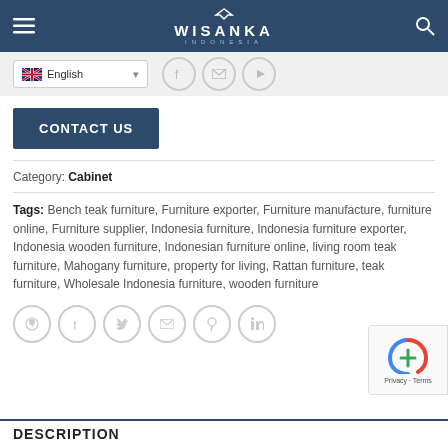WISANKA INDONESIA
[Figure (screenshot): Language selector showing English with UK flag, and social media icons for Facebook, email, and YouTube]
CONTACT US
Category: Cabinet
Tags: Bench teak furniture, Furniture exporter, Furniture manufacture, furniture online, Furniture supplier, Indonesia furniture, Indonesia furniture exporter, Indonesia wooden furniture, Indonesian furniture online, living room teak furniture, Mahogany furniture, property for living, Rattan furniture, teak furniture, Wholesale Indonesia furniture, wooden furniture
[Figure (other): Social share icons: WhatsApp, Facebook, Twitter, Email, Pinterest, LinkedIn]
DESCRIPTION